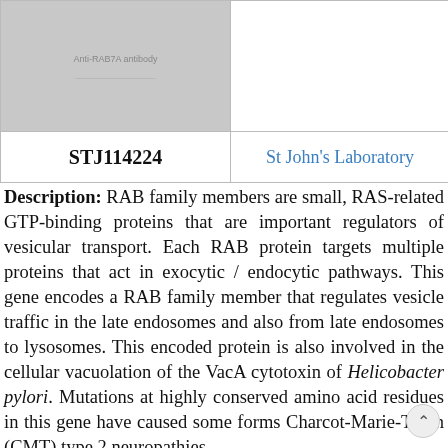[Figure (photo): Product image placeholder (grey box) with small text 'Anti-RAB7A antibody' and a secondary line below]
| Code | Supplier | Quantity | Price |
| --- | --- | --- | --- |
| STJ114224 | St John's Laboratory | 100 µl | EUR 277 |
Description: RAB family members are small, RAS-related GTP-binding proteins that are important regulators of vesicular transport. Each RAB protein targets multiple proteins that act in exocytic / endocytic pathways. This gene encodes a RAB family member that regulates vesicle traffic in the late endosomes and also from late endosomes to lysosomes. This encoded protein is also involved in the cellular vacuolation of the VacA cytotoxin of Helicobacter pylori. Mutations at highly conserved amino acid residues in this gene have caused some forms Charcot-Marie-Tooth (CMT) type 2 neuropathies.